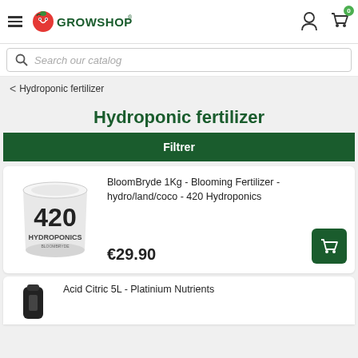GROWSHOPS.FR®
Search our catalog
< Hydroponic fertilizer
Hydroponic fertilizer
Filtrer
[Figure (photo): 420 Hydroponics BloomBryde 1Kg white bucket product photo]
BloomBryde 1Kg - Blooming Fertilizer - hydro/land/coco - 420 Hydroponics
€29.90
Acid Citric 5L - Platinium Nutrients